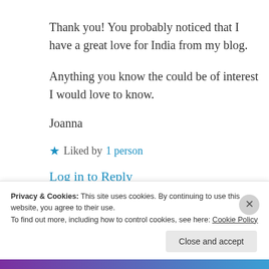Thank you! You probably noticed that I have a great love for India from my blog.
Anything you know the could be of interest I would love to know.
Joanna
★ Liked by 1 person
Log in to Reply
Privacy & Cookies: This site uses cookies. By continuing to use this website, you agree to their use.
To find out more, including how to control cookies, see here: Cookie Policy
Close and accept